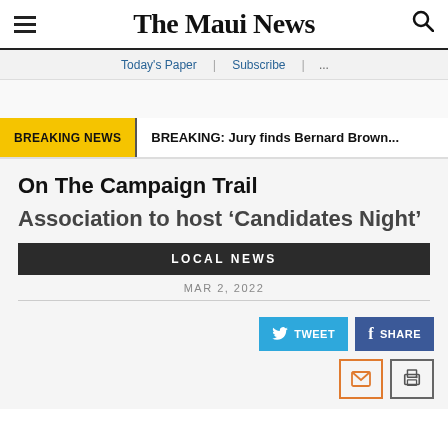The Maui News
Today's Paper | Subscribe | ...
BREAKING NEWS  BREAKING: Jury finds Bernard Brown...
On The Campaign Trail
Association to host ‘Candidates Night’
LOCAL NEWS
MAR 2, 2022